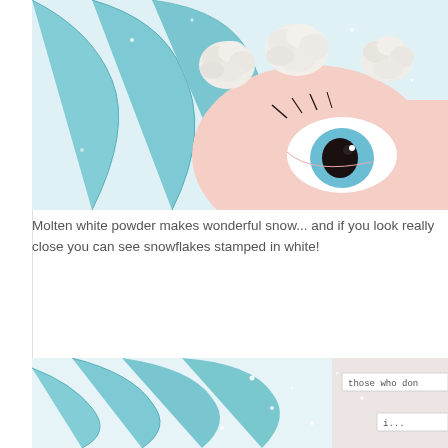[Figure (photo): Close-up of an illustrated or mixed-media artwork showing a stylized face with blue hair, large blue eye, and white fabric flowers/roses arranged as a headband on top, with a light blue background.]
Molten white powder makes wonderful snow... and if you look really close you can see snowflakes stamped in white!
[Figure (photo): Close-up of the lower portion of the same mixed-media artwork featuring blue wavy hair, a snowy/glittery background, and small text labels reading 'those who don...' and 'i...']